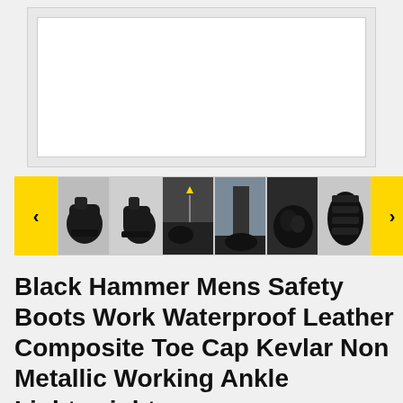[Figure (photo): Main product image area — large light grey box with white inner panel, showing product photo placeholder for Black Hammer safety boots]
[Figure (photo): Thumbnail carousel row with left yellow nav arrow, six product thumbnail images of Black Hammer safety boots from various angles, and right yellow nav arrow]
Black Hammer Mens Safety Boots Work Waterproof Leather Composite Toe Cap Kevlar Non Metallic Working Ankle Lightweight